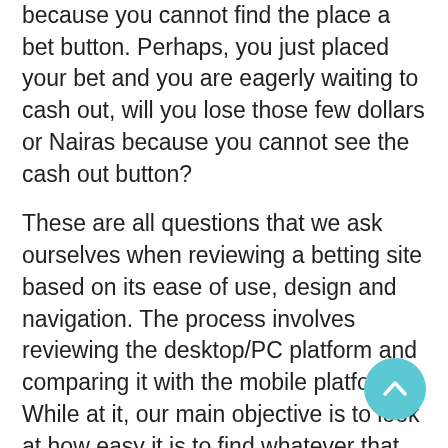because you cannot find the place a bet button. Perhaps, you just placed your bet and you are eagerly waiting to cash out, will you lose those few dollars or Nairas because you cannot see the cash out button?
These are all questions that we ask ourselves when reviewing a betting site based on its ease of use, design and navigation. The process involves reviewing the desktop/PC platform and comparing it with the mobile platform. While at it, our main objective is to look at how easy it is to find whatever that we are looking for.
In addition to that, we also look at other tiny details such as the colour schematics, the loading speeds and overall usability of the brand. If the brand h better functioning PC than mobile site, we will be